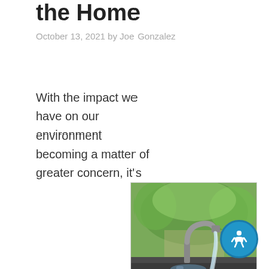the Home
October 13, 2021 by Joe Gonzalez
With the impact we have on our environment becoming a matter of greater concern, it's
[Figure (photo): A close-up photo of a running water faucet over an outdoor sink with green trees in the background.]
becoming more important for the average citizen to know they're doing their part. While there are many simple tricks for saving water that will make you feel better about your environmental footprint, here are a few easy upgrades that will make that saving